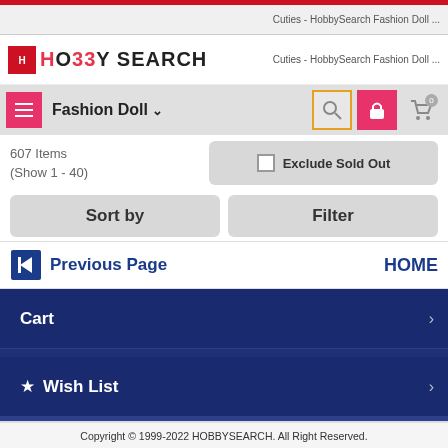Cuties - HobbySearch Fashion Doll ...
[Figure (logo): Hobby Search logo with red square icon and stylized text]
Fashion Doll
607 Items
(Show 1 - 40)
Exclude Sold Out
Sort by
Filter
Previous Page
HOME
Cart
Wish List
Copyright © 1999-2022 HOBBYSEARCH. All Right Reserved.